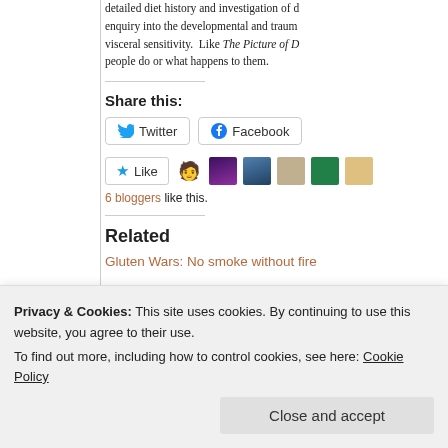detailed diet history and investigation of d enquiry into the developmental and trau visceral sensitivity. Like The Picture of D people do or what happens to them.
Share this:
Twitter  Facebook
Like  [avatars]  6 bloggers like this.
Related
Gluten Wars: No smoke without fire
Privacy & Cookies: This site uses cookies. By continuing to use this website, you agree to their use.
To find out more, including how to control cookies, see here: Cookie Policy
Close and accept